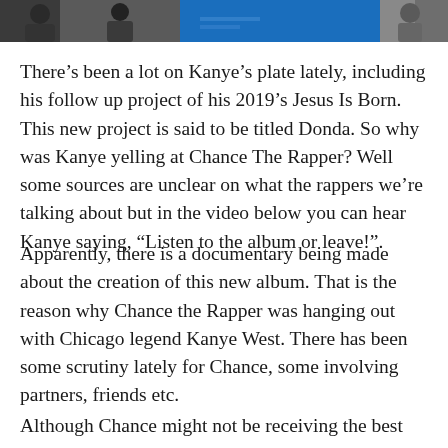[Figure (photo): Partial photo strip at top of page showing people and a blue graphic element]
There’s been a lot on Kanye’s plate lately, including his follow up project of his 2019’s Jesus Is Born. This new project is said to be titled Donda. So why was Kanye yelling at Chance The Rapper? Well some sources are unclear on what the rappers we’re talking about but in the video below you can hear Kanye saying, “Listen to the album or leave!”.
Apparently, there is a documentary being made about the creation of this new album. That is the reason why Chance the Rapper was hanging out with Chicago legend Kanye West. There has been some scrutiny lately for Chance, some involving partners, friends etc.
Although Chance might not be receiving the best